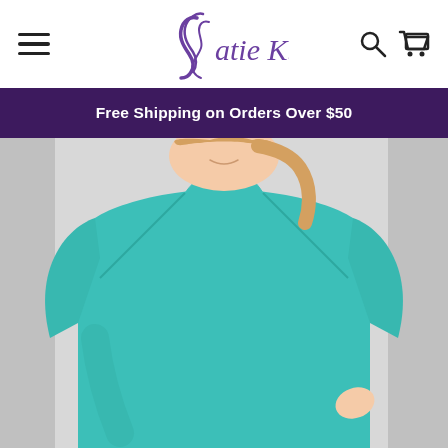Katie K. — Navigation header with hamburger menu, logo, search and cart icons
Free Shipping on Orders Over $50
[Figure (photo): Woman wearing a teal long-sleeve athletic top, smiling, with shoulder-length blonde hair pulled back. The top is a fitted crew-neck raglan style in turquoise/teal color. Background is light gray/white.]